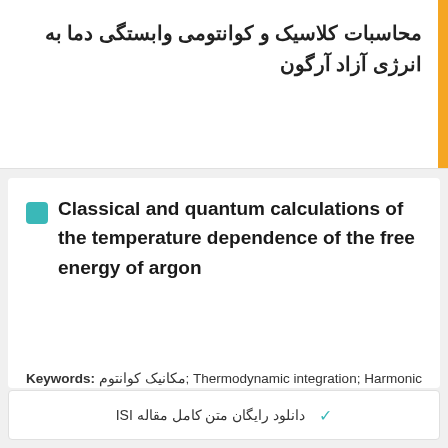محاسبات کلاسیک و کوانتومی وابستگی دما به انرژی آزاد آرگون
Classical and quantum calculations of the temperature dependence of the free energy of argon
Keywords: مکانیک کوانتوم; Thermodynamic integration; Harmonic approximation; Molecular dynamics; Quantum mechanics; Helmholtz free energy; Argon;
✓ دانلود رایگان متن کامل مقاله ISI